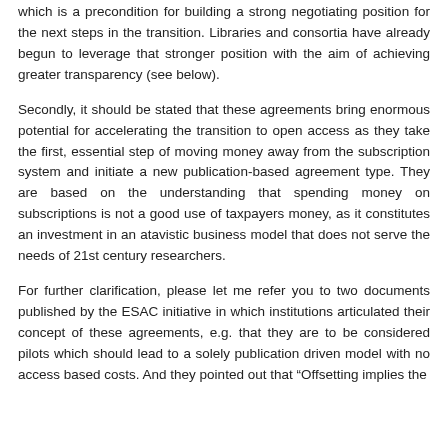which is a precondition for building a strong negotiating position for the next steps in the transition. Libraries and consortia have already begun to leverage that stronger position with the aim of achieving greater transparency (see below).
Secondly, it should be stated that these agreements bring enormous potential for accelerating the transition to open access as they take the first, essential step of moving money away from the subscription system and initiate a new publication-based agreement type. They are based on the understanding that spending money on subscriptions is not a good use of taxpayers money, as it constitutes an investment in an atavistic business model that does not serve the needs of 21st century researchers.
For further clarification, please let me refer you to two documents published by the ESAC initiative in which institutions articulated their concept of these agreements, e.g. that they are to be considered pilots which should lead to a solely publication driven model with no access based costs. And they pointed out that “Offsetting implies the